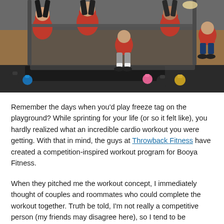[Figure (photo): Group of people in red 'Throwback' shirts doing exercises in a gym. Some are inverted/hanging on equipment, others are crouching. Kettlebells visible on the floor.]
Remember the days when you'd play freeze tag on the playground? While sprinting for your life (or so it felt like), you hardly realized what an incredible cardio workout you were getting. With that in mind, the guys at Throwback Fitness have created a competition-inspired workout program for Booya Fitness.
When they pitched me the workout concept, I immediately thought of couples and roommates who could complete the workout together. Truth be told, I'm not really a competitive person (my friends may disagree here), so I tend to be